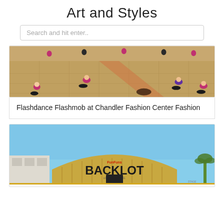Art and Styles
Search and hit enter..
[Figure (photo): Indoor dance flashmob scene with people in pink tops and black bottoms dancing/posing on a mall floor]
Flashdance Flashmob at Chandler Fashion Center Fashion
[Figure (photo): Exterior of a building with a large sign reading 'FunFuns BACKLOT' against a blue sky, with a palm tree visible]